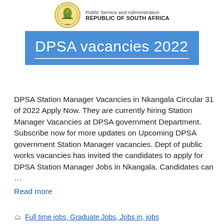Public Service and Administration REPUBLIC OF SOUTH AFRICA
DPSA vacancies 2022
DPSA Station Manager Vacancies in Nkangala Circular 31 of 2022 Apply Now. They are currently hiring Station Manager Vacancies at DPSA government Department. Subscribe now for more updates on Upcoming DPSA government Station Manager vacancies. Dept of public works vacancies has invited the candidates to apply for DPSA Station Manager Jobs in Nkangala. Candidates can …
Read more
Full time jobs, Graduate Jobs, Jobs in, jobs